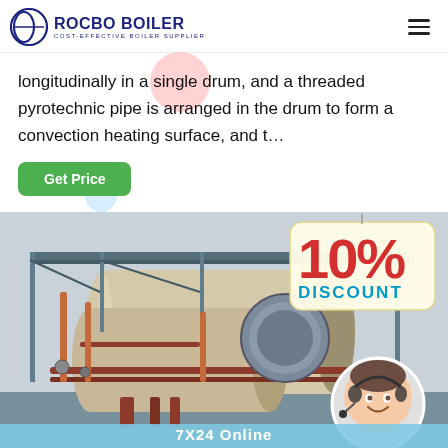ROCBO BOILER — COST-EFFECTIVE BOILER SUPPLIER
longitudinally in a single drum, and a threaded pyrotechnic pipe is arranged in the drum to form a convection heating surface, and t…
Get Price
[Figure (photo): Industrial boiler room with large cylindrical horizontal boilers, piping, metal scaffolding, and a 10% DISCOUNT badge overlay. A customer support representative in a circular frame is shown in the bottom right. A '7X24 Online' label appears at the bottom.]